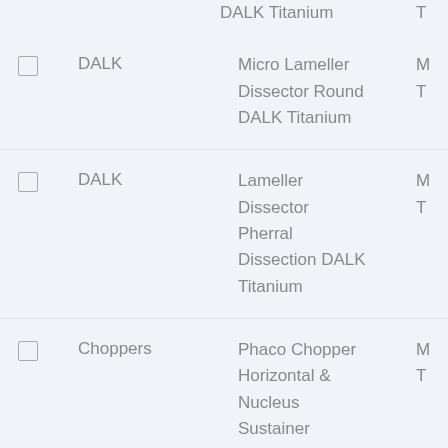DALK Titanium | T (partial, top crop)
DALK | Micro Lameller Dissector Round DALK Titanium | M T
DALK | Lameller Dissector Pherral Dissection DALK Titanium | M T
Choppers | Phaco Chopper Horizontal & Nucleus Sustainer Titanium | M T